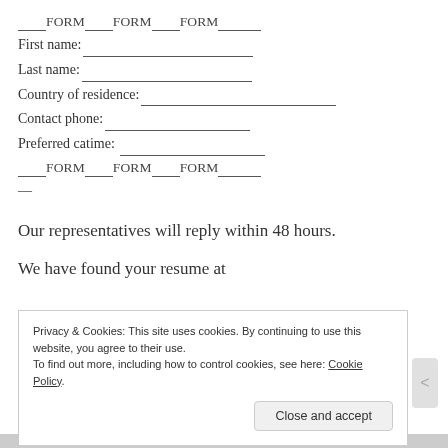___FORM_____FORM______FORM_____
First name: ______________________
Last name: ______________________
Country of residence: ______________________
Contact phone: ______________________
Preferred catime: ______________________
___FORM_____FORM______FORM_____
—
Our representatives will reply within 48 hours.
We have found your resume at
Privacy & Cookies: This site uses cookies. By continuing to use this website, you agree to their use.
To find out more, including how to control cookies, see here: Cookie Policy
Close and accept